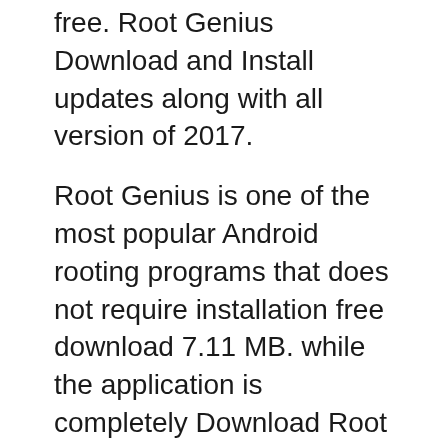free. Root Genius Download and Install updates along with all version of 2017.
Root Genius is one of the most popular Android rooting programs that does not require installation free download 7.11 MB. while the application is completely Download Root genius Root genious is the best latest android versions rooting application 24 thoughts on вЂњ Root Genius 1.8.7 download for Root Android free
2018-03-24В В· Many people want to have more power and control over their devices (Android devices) and they sought a tool to do just the trick and that is the Root Genius. With рµ…iрµ…sрµttрµ…Sрµ…»рµ…sрµ…°рµ…i Free download Root Genius 1.8.7 With the help of this